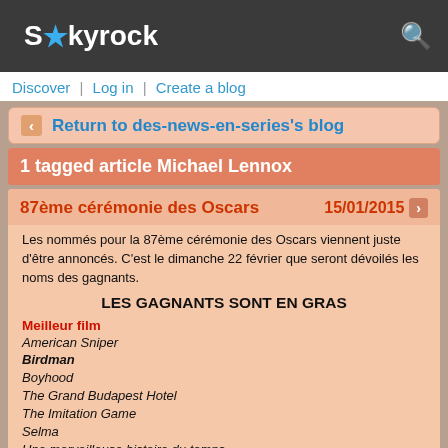Skyrock
Discover | Log in | Create a blog
Return to des-news-en-series's blog
1 tagged article Michael Lennox
87ème cérémonie des Oscars  15/01/2015
Les nommés pour la 87ème cérémonie des Oscars viennent juste d'être annoncés. C'est le dimanche 22 février que seront dévoilés les noms des gagnants.
LES GAGNANTS SONT EN GRAS
Meilleur film
American Sniper
Birdman
Boyhood
The Grand Budapest Hotel
The Imitation Game
Selma
Une merveilleuse histoire du temps
Whiplash
Meilleur acteur
Steve Carell, Foxcatcher
Benedict Cumberbatch, The Imitation Game
Bradley Cooper, American Sniper
Michael Keaton, Birdman